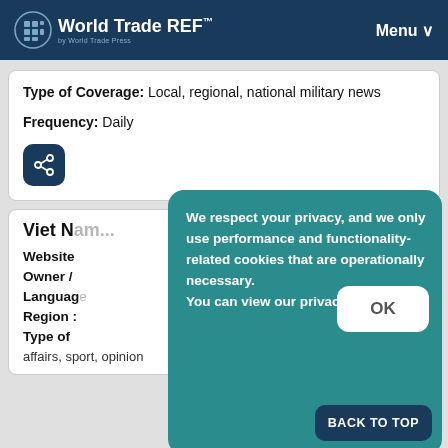World Trade REF™ by World Trade Press — Menu
Type of Coverage: Local, regional, national military news
Frequency: Daily
[Figure (other): Share icon button (dark blue rounded square with share symbol)]
Viet N…
Website
Owner /
Languag…
Region :
Type of… affairs, sport, opinion
We respect your privacy, and we only use performance and functionality-related cookies that are operationally necessary. You can view our privacy policy here.
OK
BACK TO TOP